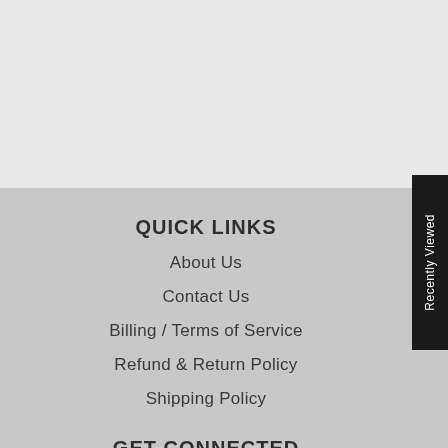QUICK LINKS
About Us
Contact Us
Billing / Terms of Service
Refund & Return Policy
Shipping Policy
GET CONNECTED
[Figure (illustration): Twitter and Facebook social media icons]
Recently Viewed